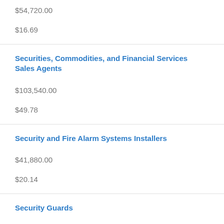$54,720.00
$16.69
Securities, Commodities, and Financial Services Sales Agents
$103,540.00
$49.78
Security and Fire Alarm Systems Installers
$41,880.00
$20.14
Security Guards
$27,600.00